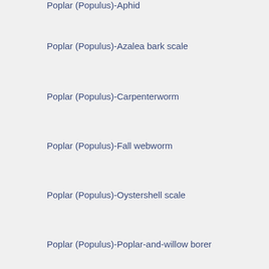Poplar (Populus)-Aphid
Poplar (Populus)-Azalea bark scale
Poplar (Populus)-Carpenterworm
Poplar (Populus)-Fall webworm
Poplar (Populus)-Oystershell scale
Poplar (Populus)-Poplar-and-willow borer
Poplar (Populus)-Rose leafhopper
Poplar (Populus)-Satin moth
Privet (Ligustrum)-Lilac leafminer
Privet (Ligustrum)-Thrips
Quince, flowering (Cydonia)-Cherry bark tortrix
Rhododendron (Rhododendron)-Aphid
Rhododendron (Rhododendron)-Azalea and rhododendron lace bug